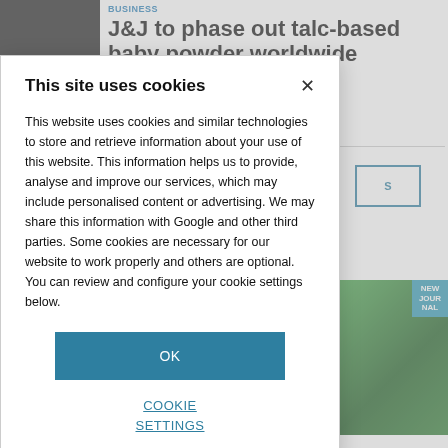[Figure (screenshot): Background article page showing a news article with headline 'J&J to phase out talc-based baby powder worldwide' with a photo of a baby powder bottle, partially obscured by a cookie consent modal overlay.]
This site uses cookies
This website uses cookies and similar technologies to store and retrieve information about your use of this website. This information helps us to provide, analyse and improve our services, which may include personalised content or advertising. We may share this information with Google and other third parties. Some cookies are necessary for our website to work properly and others are optional. You can review and configure your cookie settings below.
OK
COOKIE SETTINGS